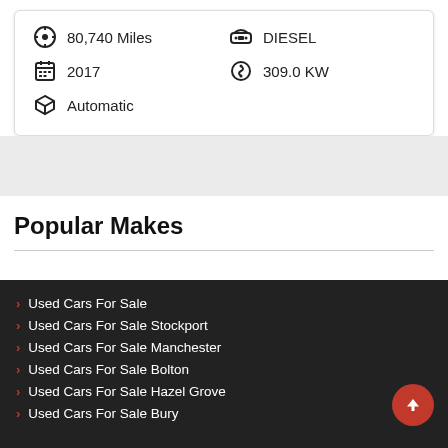80,740 Miles
DIESEL
2017
309.0 KW
Automatic
Popular Makes
Used Cars For Sale
Used Cars For Sale Stockport
Used Cars For Sale Manchester
Used Cars For Sale Bolton
Used Cars For Sale Hazel Grove
Used Cars For Sale Bury